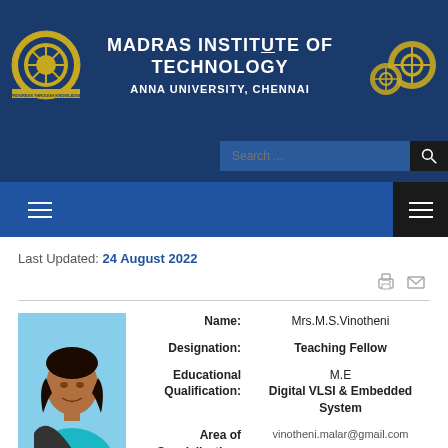[Figure (logo): Madras Institute of Technology Anna University Chennai header with logos on both sides]
Last Updated: 24 August 2022
[Figure (photo): Profile photo of Mrs.M.S.Vinotheni]
| Field | Value |
| --- | --- |
| Name: | Mrs.M.S.Vinotheni |
| Designation: | Teaching Fellow |
| Educational Qualification: | M.E |
| Area of Specialization: | Digital VLSI & Embedded System |
| Email ID: | vinotheni.malar@gmail.com |